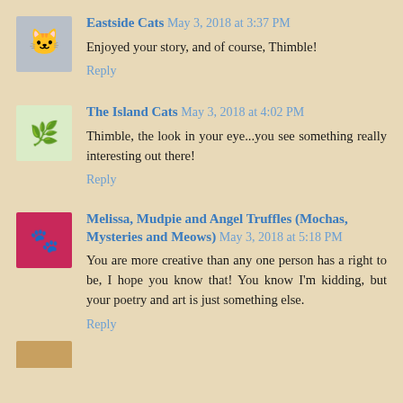Eastside Cats — May 3, 2018 at 3:37 PM
Enjoyed your story, and of course, Thimble!
Reply
The Island Cats — May 3, 2018 at 4:02 PM
Thimble, the look in your eye...you see something really interesting out there!
Reply
Melissa, Mudpie and Angel Truffles (Mochas, Mysteries and Meows) — May 3, 2018 at 5:18 PM
You are more creative than any one person has a right to be, I hope you know that! You know I'm kidding, but your poetry and art is just something else.
Reply